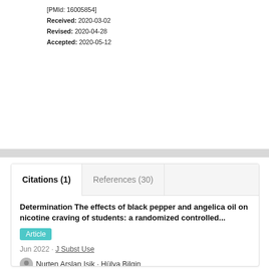[PMId: 16005854]
Received: 2020-03-02
Revised: 2020-04-28
Accepted: 2020-05-12
Citations (1)
References (30)
Determination The effects of black pepper and angelica oil on nicotine craving of students: a randomized controlled...
Article
Jun 2022 · J Subst Use
Nurten Arslan Isik · Hülya Bilgin